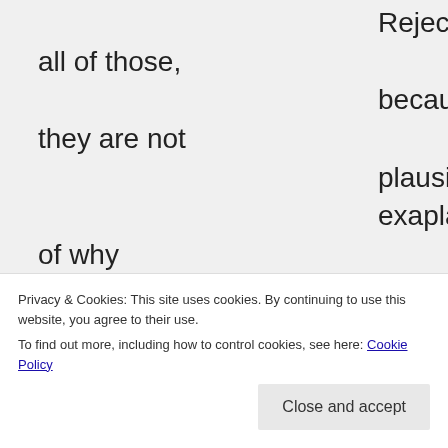Rejecting all of those, because they are not plausible exaplantions of why homicide occurs is NOT pseudoscientific. And thus your argument about Campbell's rejections as pseudoscientific falls
Privacy & Cookies: This site uses cookies. By continuing to use this website, you agree to their use.
To find out more, including how to control cookies, see here: Cookie Policy
because Campbell